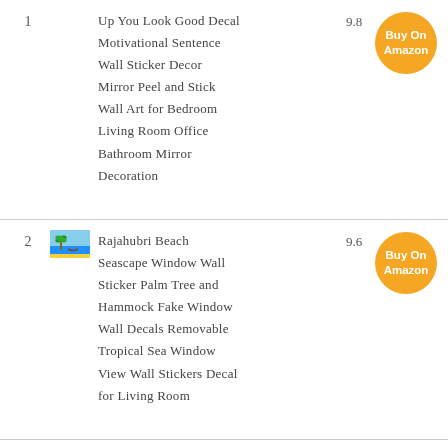1 — Up You Look Good Decal Motivational Sentence Wall Sticker Decor Mirror Peel and Stick Wall Art for Bedroom Living Room Office Bathroom Mirror Decoration — 9.8 — Buy On Amazon
[Figure (photo): Small thumbnail image of a beach/tropical scene]
2 — Rajahubri Beach Seascape Window Wall Sticker Palm Tree and Hammock Fake Window Wall Decals Removable Tropical Sea Window View Wall Stickers Decal for Living Room — 9.6 — Buy On Amazon